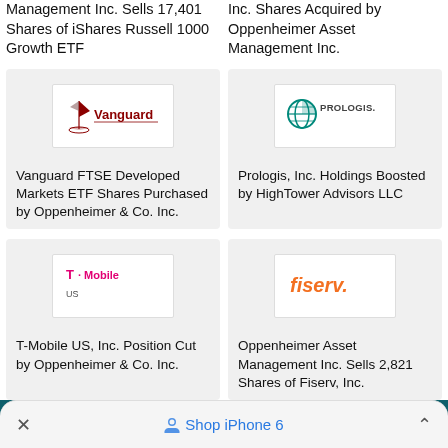Management Inc. Sells 17,401 Shares of iShares Russell 1000 Growth ETF
Inc. Shares Acquired by Oppenheimer Asset Management Inc.
[Figure (logo): Vanguard logo with sailing ship icon]
Vanguard FTSE Developed Markets ETF Shares Purchased by Oppenheimer & Co. Inc.
[Figure (logo): Prologis logo with globe icon]
Prologis, Inc. Holdings Boosted by HighTower Advisors LLC
[Figure (logo): T-Mobile logo]
T-Mobile US, Inc. Position Cut by Oppenheimer & Co. Inc.
[Figure (logo): Fiserv logo]
Oppenheimer Asset Management Inc. Sells 2,821 Shares of Fiserv, Inc.
Free Financial Reports
Shop iPhone 6